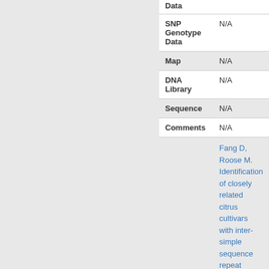|  | Data |
| --- | --- |
| SNP Genotype Data | N/A |
| Map | N/A |
| DNA Library | N/A |
| Sequence | N/A |
| Comments | N/A |
| Reference | Fang D, Roose M. Identification of closely related citrus cultivars with inter-simple sequence repeat |